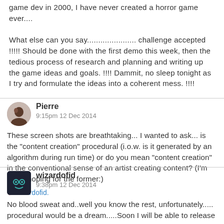game dev in 2000, I have never created a horror game ever....
What else can you say...................... challenge accepted !!!!! Should be done with the first demo this week, then the tedious process of research and planning and writing up the game ideas and goals. !!!! Dammit, no sleep tonight as I try and formulate the ideas into a coherent mess. !!!!
Pierre
9:15pm 12 Dec 2014
These screen shots are breathtaking... I wanted to ask... is the "content creation" procedural (i.o.w. is it generated by an algorithm during run time) or do you mean "content creation" in the conventional sense of an artist creating content? (I'm kinda hoping for the former:)
wizardofid.
wizardofid
9:38pm 12 Dec 2014
No blood sweat and..well you know the rest, unfortunately..... procedural would be a dream.....Soon I will be able to release